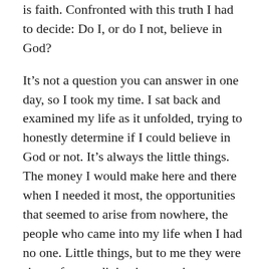is faith. Confronted with this truth I had to decide: Do I, or do I not, believe in God?
It's not a question you can answer in one day, so I took my time. I sat back and examined my life as it unfolded, trying to honestly determine if I could believe in God or not. It's always the little things. The money I would make here and there when I needed it most, the opportunities that seemed to arise from nowhere, the people who came into my life when I had no one. Little things, but to me they were signs of some divine intervention. Grudgingly I accepted the existence of God, but that didn't put Him back in my good graces. I hated Him just as much, but I couldn't deny His existence. I just couldn't see any good or purpose in my suffering.
That autumn, I wrote a draft of my memoir. Two weeks